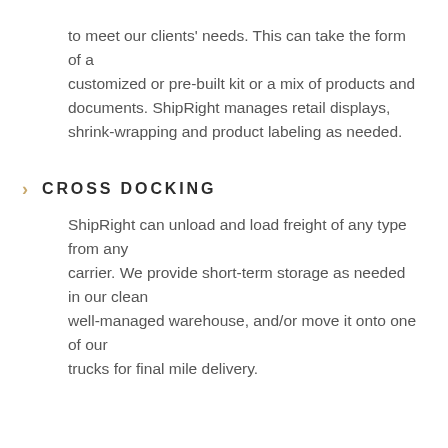to meet our clients' needs. This can take the form of a customized or pre-built kit or a mix of products and documents. ShipRight manages retail displays, shrink-wrapping and product labeling as needed.
CROSS DOCKING
ShipRight can unload and load freight of any type from any carrier. We provide short-term storage as needed in our clean well-managed warehouse, and/or move it onto one of our trucks for final mile delivery.